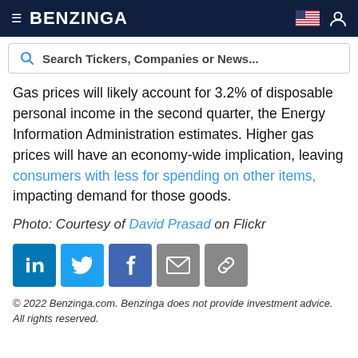BENZINGA
Search Tickers, Companies or News...
Gas prices will likely account for 3.2% of disposable personal income in the second quarter, the Energy Information Administration estimates. Higher gas prices will have an economy-wide implication, leaving consumers with less for spending on other items, impacting demand for those goods.
Photo: Courtesy of David Prasad on Flickr
[Figure (infographic): Social share buttons: LinkedIn, Twitter, Facebook, Email, Copy Link]
© 2022 Benzinga.com. Benzinga does not provide investment advice. All rights reserved.